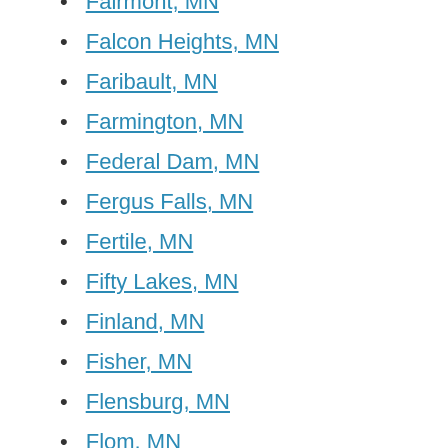Fairmont, MN
Falcon Heights, MN
Faribault, MN
Farmington, MN
Federal Dam, MN
Fergus Falls, MN
Fertile, MN
Fifty Lakes, MN
Finland, MN
Fisher, MN
Flensburg, MN
Flom, MN
Floodwood, MN
Foley, MN
Forbes, MN
Forest Lake, MN
Foreston, MN
Fosston, MN